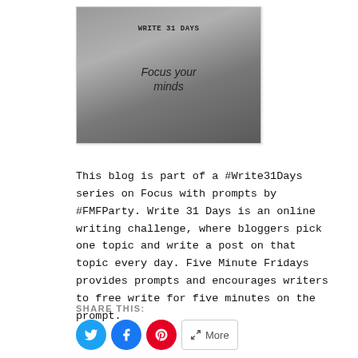[Figure (photo): Book with glasses on top, text overlay reading 'WRITE 31 DAYS' and 'Focus your minds']
This blog is part of a #Write31Days series on Focus with prompts by #FMFParty. Write 31 Days is an online writing challenge, where bloggers pick one topic and write a post on that topic every day. Five Minute Fridays provides prompts and encourages writers to free write for five minutes on the prompt.
SHARE THIS:
More